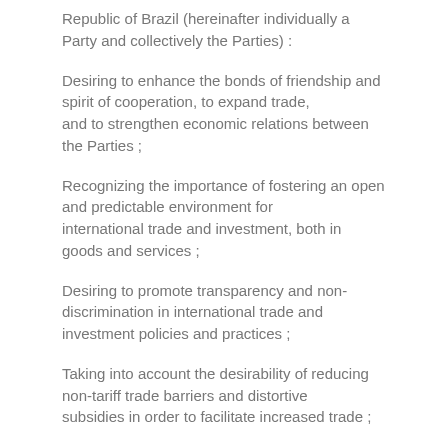Republic of Brazil (hereinafter individually a Party and collectively the Parties) :
Desiring to enhance the bonds of friendship and spirit of cooperation, to expand trade, and to strengthen economic relations between the Parties ;
Recognizing the importance of fostering an open and predictable environment for international trade and investment, both in goods and services ;
Desiring to promote transparency and non-discrimination in international trade and investment policies and practices ;
Taking into account the desirability of reducing non-tariff trade barriers and distortive subsidies in order to facilitate increased trade ;
Recognizing the importance of providing adequate and